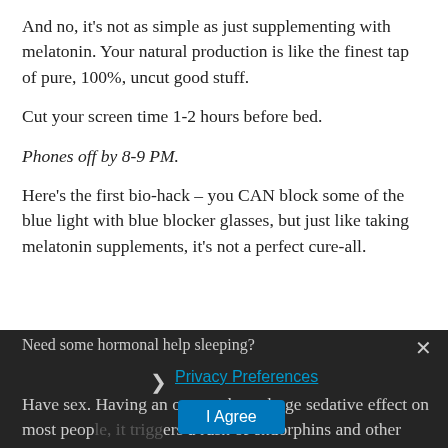And no, it's not as simple as just supplementing with melatonin. Your natural production is like the finest tap of pure, 100%, uncut good stuff.
Cut your screen time 1-2 hours before bed.
Phones off by 8-9 PM.
Here's the first bio-hack – you CAN block some of the blue light with blue blocker glasses, but just like taking melatonin supplements, it's not a perfect cure-all.
Need some hormonal help sleeping?
Privacy Preferences
Have sex. Having an orgasm has a huge sedative effect on most people, it triggers a rush of endorphins and other hormones towards the